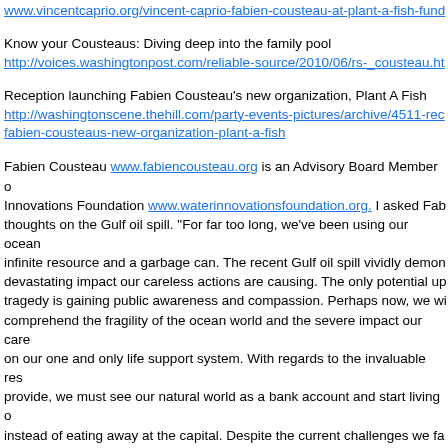www.vincentcaprio.org/vincent-caprio-fabien-cousteau-at-plant-a-fish-fund
Know your Cousteaus: Diving deep into the family pool
http://voices.washingtonpost.com/reliable-source/2010/06/rs-_cousteau.ht
Reception launching Fabien Cousteau’s new organization, Plant A Fish
http://washingtonscene.thehill.com/party-events-pictures/archive/4511-rec fabien-cousteaus-new-organization-plant-a-fish
Fabien Cousteau www.fabiencousteau.org is an Advisory Board Member of Water Innovations Foundation www.waterinnovationsfoundation.org. I asked Fab thoughts on the Gulf oil spill. “For far too long, we’ve been using our ocean infinite resource and a garbage can. The recent Gulf oil spill vividly demon devastating impact our careless actions are causing. The only potential up tragedy is gaining public awareness and compassion. Perhaps now, we wi comprehend the fragility of the ocean world and the severe impact our care on our one and only life support system. With regards to the invaluable res provide, we must see our natural world as a bank account and start living o instead of eating away at the capital. Despite the current challenges we fa must go forward and strike a delicate balance with the oceans if we are to future. By ending our wasteful practices, weaning ourselves off our 100-ye fuels and shifting to, and embracing renewable energy sources, we can a balance. As challenging as it may be, let’s do everything we can to prote